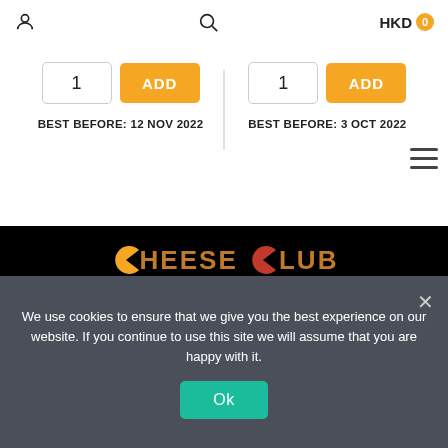HKD 0
1  ADD  BEST BEFORE: 12 NOV 2022
1  ADD  BEST BEFORE: 3 OCT 2022
[Figure (logo): Cheese Club logo with pac-man style icons on black background]
CONTACT US
FAQS
DELIVERY GUIDELINES
TERMS & CONDITIONS
We use cookies to ensure that we give you the best experience on our website. If you continue to use this site we will assume that you are happy with it.